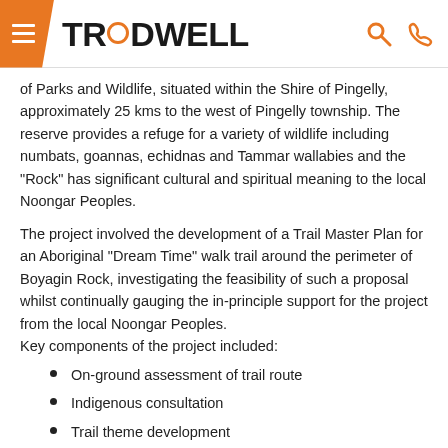TREDWELL
of Parks and Wildlife, situated within the Shire of Pingelly, approximately 25 kms to the west of Pingelly township. The reserve provides a refuge for a variety of wildlife including numbats, goannas, echidnas and Tammar wallabies and the “Rock” has significant cultural and spiritual meaning to the local Noongar Peoples.
The project involved the development of a Trail Master Plan for an Aboriginal “Dream Time” walk trail around the perimeter of Boyagin Rock, investigating the feasibility of such a proposal whilst continually gauging the in-principle support for the project from the local Noongar Peoples.
Key components of the project included:
On-ground assessment of trail route
Indigenous consultation
Trail theme development
Mapping